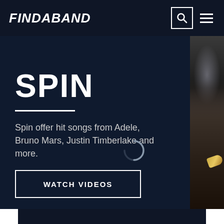FINDABAND
SPIN
Spin offer hit songs from Adele, Bruno Mars, Justin Timberlake and more.
[Figure (other): Loading spinner / circular progress indicator]
WATCH VIDEOS
[Figure (photo): Photo strip on the right side showing a musician playing a trumpet or brass instrument]